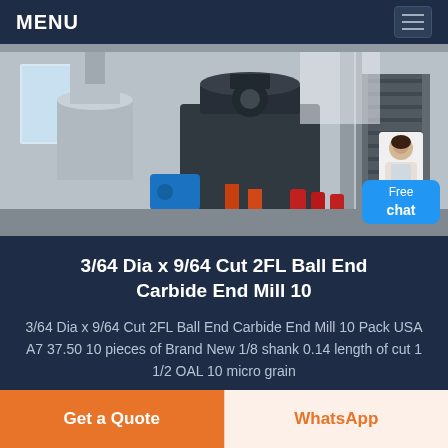MENU
[Figure (photo): Industrial machinery interior showing large cylindrical ducts, a ball mill or grinding machine, conveyor systems, staircases, fire extinguishers, and industrial equipment in a factory setting. A customer service representative chat widget appears in the bottom-right corner with 'Free chat' label.]
3/64 Dia x 9/64 Cut 2FL Ball End Carbide End Mill 10
3/64 Dia x 9/64 Cut 2FL Ball End Carbide End Mill 10 Pack USA A7 37.50 10 pieces of Brand New 1/8 shank 0.14 length of cut 1 1/2 OAL 10 micro grain
Get a Quote
WhatsApp